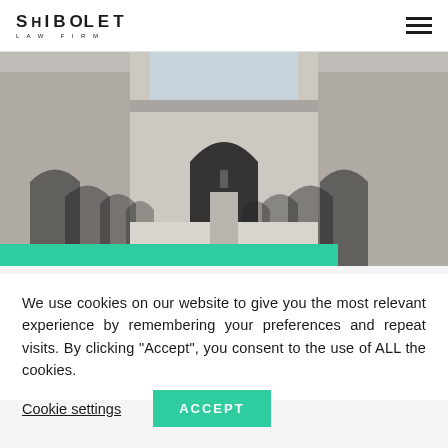SHIBOLET LAW FIRM
[Figure (photo): Black and white photograph of a grand building interior courtyard with arched colonnades on both sides and a central corridor with archways receding into the distance. A teal/green bar overlays the bottom portion of the image.]
We use cookies on our website to give you the most relevant experience by remembering your preferences and repeat visits. By clicking “Accept”, you consent to the use of ALL the cookies.
Cookie settings
ACCEPT